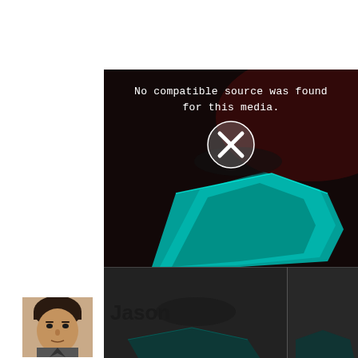[Figure (screenshot): Video player showing error message 'No compatible source was found for this media.' with an X icon, over a dark tron-like background. Below are two video thumbnails labeled 'The Diecast Mod...' and 'The Dieca']
The Diecast Model Welcome V...
[Figure (photo): Small profile photo of an Asian man]
Jason